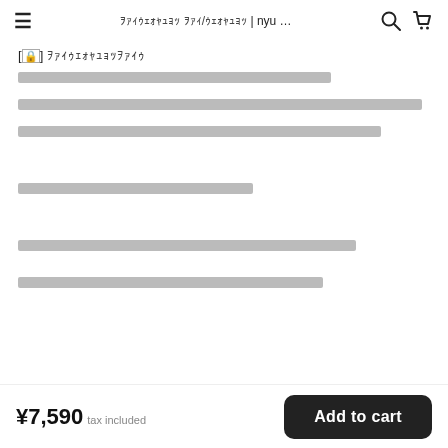≡  ｦｧｨｩｪｫｬｭｮｯ ｦｧｨ/ｩｪｫｬｭｮｯ | nyu ...  🔍  🛒
[🔒] ｦｧｨｩｪｫｬｭｮｯｦｧｨｩ
ｦｧｨｩｪｫｬｭｮｯｦｧｨｩｪｫｬｭｮｯｦｧｨｩｪｫｬｭｮｯｦｧｨｩｪｫｬｭｮｯｦｧｨｩｪｫｬｭｮｯ
ｦｧｨｩｪｫｬｭｮｯｦｧｨｩｪｫｬｭｮｯｦｧｨｩｪｫｬｭｮｯｦｧｨｩｪｫｬｭｮｯｦｧｨｩｪｫｬｭｮｯｦｧｨｩｪｫｬｭｮｯｦｧｨｩｪｫｬｭｮｯｦｧｨｩｪｫｬｭｮｯｦｧｨｩｪｫ
ｦｧｨｩｪｫｬｭｮｯｦｧｨｩｪｫｬｭｮｯｦｧｨｩｪｫｬｭｮｯｦｧｨｩｪｫｬｭｮｯｦｧｨｩｪｫｬｭｮｯｦｧｨｩｪｫｬｭｮｯｦｧｨｩｪｫｬｭｮｯ
ｦｧｨｩｪｫｬｭｮｯｦｧｨｩｪｫｬｭｮｯｦｧｨｩｪｫｬｭｮｯｦｧｨｩｪｫｬｭｮｯｦｧｨｩｪ
ｦｧｨｩｪｫｬｭｮｯｦｧｨｩｪｫｬｭｮｯｦｧｨｩｪｫｬｭｮｯｦｧｨｩｪｫｬｭｮｯｦｧｨｩｪｫｬｭｮｯｦｧｨｩｪｫｬｭｮｯ
ｦｧｨｩｪｫｬｭｮｯｦｧｨｩｪｫｬｭｮｯｦｧｨｩｪｫｬｭｮｯｦｧｨｩｪｫｬｭｮｯｦｧｨｩｪｫｬｭｮｯｦｧｨｩｪｫｬｭｮｯ
¥7,590  tax included
Add to cart